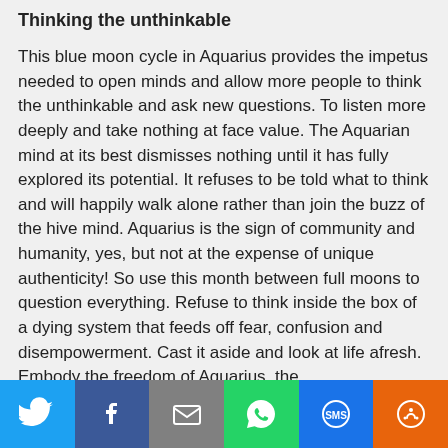Thinking the unthinkable
This blue moon cycle in Aquarius provides the impetus needed to open minds and allow more people to think the unthinkable and ask new questions. To listen more deeply and take nothing at face value. The Aquarian mind at its best dismisses nothing until it has fully explored its potential. It refuses to be told what to think and will happily walk alone rather than join the buzz of the hive mind. Aquarius is the sign of community and humanity, yes, but not at the expense of unique authenticity! So use this month between full moons to question everything. Refuse to think inside the box of a dying system that feeds off fear, confusion and disempowerment. Cast it aside and look at life afresh. Embody the freedom of Aquarius, the
[Figure (infographic): Social sharing bar with buttons for Twitter, Facebook, Email, WhatsApp, SMS, and More]